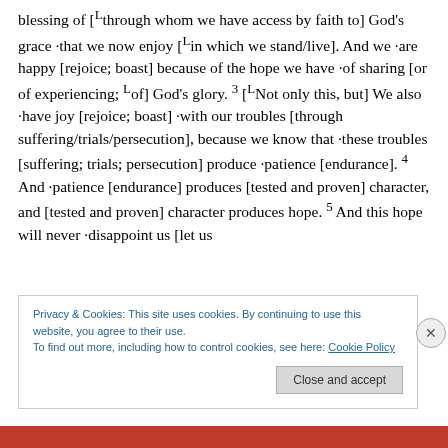blessing of [Lthrough whom we have access by faith to] God's grace ·that we now enjoy [Lin which we stand/live]. And we ·are happy [rejoice; boast] because of the hope we have ·of sharing [or of experiencing; Lof] God's glory. 3 [LNot only this, but] We also ·have joy [rejoice; boast] ·with our troubles [through suffering/trials/persecution], because we know that ·these troubles [suffering; trials; persecution] produce ·patience [endurance]. 4 And ·patience [endurance] produces [tested and proven] character, and [tested and proven] character produces hope. 5 And this hope will never ·disappoint us [let us
Privacy & Cookies: This site uses cookies. By continuing to use this website, you agree to their use.
To find out more, including how to control cookies, see here: Cookie Policy